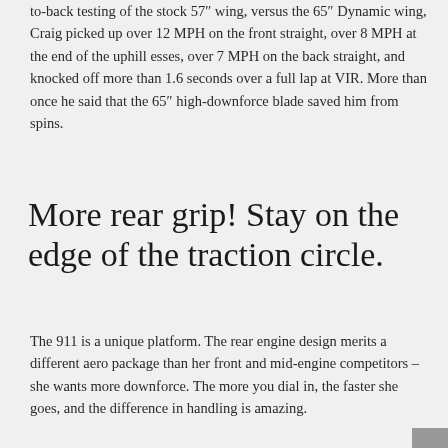to-back testing of the stock 57″ wing, versus the 65″ Dynamic wing, Craig picked up over 12 MPH on the front straight, over 8 MPH at the end of the uphill esses, over 7 MPH on the back straight, and knocked off more than 1.6 seconds over a full lap at VIR. More than once he said that the 65″ high-downforce blade saved him from spins.
More rear grip! Stay on the edge of the traction circle.
The 911 is a unique platform. The rear engine design merits a different aero package than her front and mid-engine competitors – she wants more downforce. The more you dial in, the faster she goes, and the difference in handling is amazing.